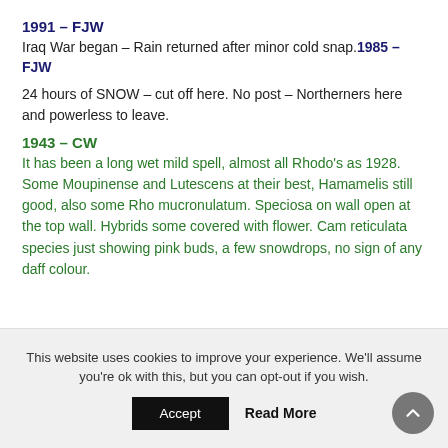1991 – FJW
Iraq War began – Rain returned after minor cold snap.1985 – FJW
24 hours of SNOW – cut off here. No post – Northerners here and powerless to leave.
1943 – CW
It has been a long wet mild spell, almost all Rhodo's as 1928. Some Moupinense and Lutescens at their best, Hamamelis still good, also some Rho mucronulatum. Speciosa on wall open at the top wall. Hybrids some covered with flower. Cam reticulata species just showing pink buds, a few snowdrops, no sign of any daff colour.
This website uses cookies to improve your experience. We'll assume you're ok with this, but you can opt-out if you wish.